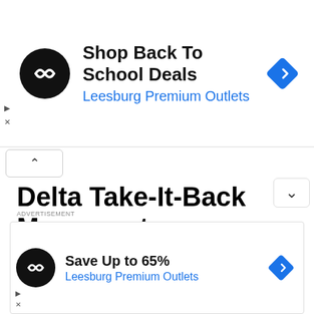[Figure (infographic): Advertisement banner: black circular logo with infinity-like symbol, text 'Shop Back To School Deals' and 'Leesburg Premium Outlets' in blue, blue diamond arrow icon on right, play and X controls on left]
[Figure (other): Collapse chevron button (up arrow)]
Delta Take-It-Back Movement Coordinator Raises Alarm Over Alleged Plan By Policewoman To Kidnap Him
[Figure (other): Expand chevron button (down arrow)]
ADVERTISEMENT
[Figure (infographic): Advertisement banner: black circular logo with infinity-like symbol, text 'Save Up to 65%' and 'Leesburg Premium Outlets' in blue, blue diamond arrow icon on right, play and X controls on left]